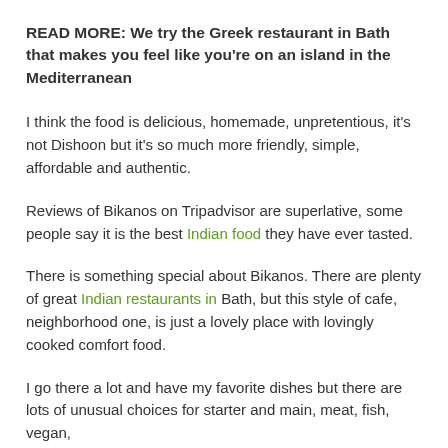READ MORE: We try the Greek restaurant in Bath that makes you feel like you're on an island in the Mediterranean
I think the food is delicious, homemade, unpretentious, it's not Dishoon but it's so much more friendly, simple, affordable and authentic.
Reviews of Bikanos on Tripadvisor are superlative, some people say it is the best Indian food they have ever tasted.
There is something special about Bikanos. There are plenty of great Indian restaurants in Bath, but this style of cafe, neighborhood one, is just a lovely place with lovingly cooked comfort food.
I go there a lot and have my favorite dishes but there are lots of unusual choices for starter and main, meat, fish, vegan,